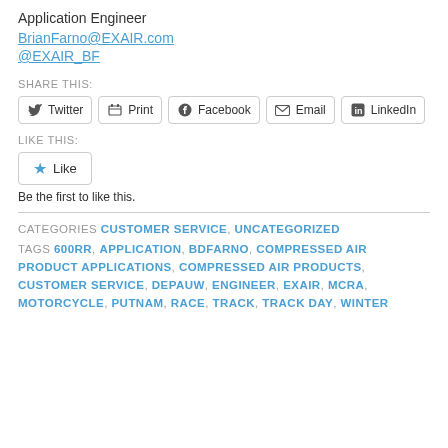Application Engineer
BrianFarno@EXAIR.com
@EXAIR_BF
SHARE THIS:
Twitter | Print | Facebook | Email | LinkedIn
LIKE THIS:
Like
Be the first to like this.
CATEGORIES CUSTOMER SERVICE, UNCATEGORIZED
TAGS 600RR, APPLICATION, BDFARNO, COMPRESSED AIR PRODUCT APPLICATIONS, COMPRESSED AIR PRODUCTS, CUSTOMER SERVICE, DEPAUW, ENGINEER, EXAIR, MCRA, MOTORCYCLE, PUTNAM, RACE, TRACK, TRACK DAY, WINTER